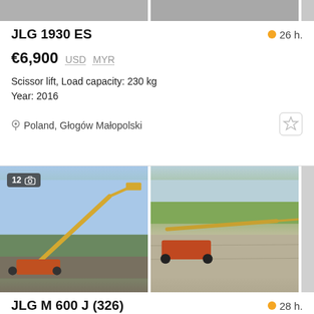[Figure (photo): Top portion of two equipment listing photos, partially cropped]
JLG 1930 ES
26 h.
€6,900  USD  MYR
Scissor lift, Load capacity: 230 kg
Year: 2016
Poland, Głogów Małopolski
[Figure (photo): Two photos of JLG M 600 J boom lift, orange/red articulated aerial work platform outdoors]
JLG M 600 J (326)
28 h.
price on request